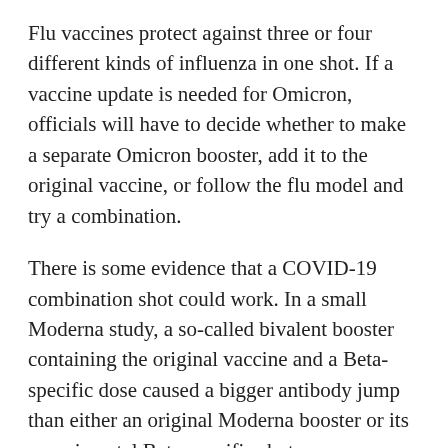Flu vaccines protect against three or four different kinds of influenza in one shot. If a vaccine update is needed for Omicron, officials will have to decide whether to make a separate Omicron booster, add it to the original vaccine, or follow the flu model and try a combination.
There is some evidence that a COVID-19 combination shot could work. In a small Moderna study, a so-called bivalent booster containing the original vaccine and a Beta-specific dose caused a bigger antibody jump than either an original Moderna booster or its experimental Beta-specific shot.
And scientists already are working on next-generation vaccines that target parts of the virus less likely to change.